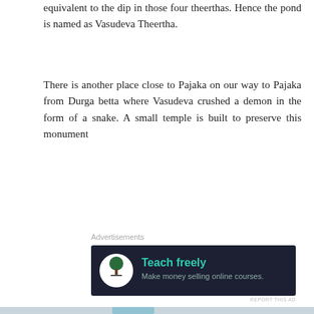equivalent to the dip in those four theerthas. Hence the pond is named as Vasudeva Theertha.
There is another place close to Pajaka on our way to Pajaka from Durga betta where Vasudeva crushed a demon in the form of a snake. A small temple is built to preserve this monument
Advertisements
[Figure (screenshot): Advertisement banner: dark background with 'Teach freely' headline in teal and 'Make money selling online courses.' subtext, with a circular white icon featuring a bonsai tree.]
REPORT THIS AD
[Figure (photo): Partial photo of a temple structure with tiled roof and a flag visible in the upper portion.]
Advertisements
[Figure (screenshot): Victoria's Secret advertisement with pink background, woman with curly hair on left, VS logo, and 'SHOP THE COLLECTION' text with a 'SHOP NOW' button.]
REPORT THIS AD